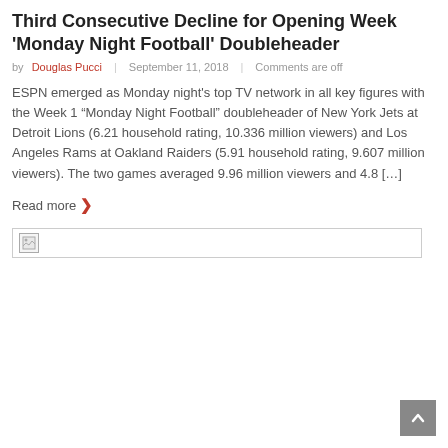Third Consecutive Decline for Opening Week 'Monday Night Football' Doubleheader
by Douglas Pucci   September 11, 2018   Comments are off
ESPN emerged as Monday night's top TV network in all key figures with the Week 1 “Monday Night Football” doubleheader of New York Jets at Detroit Lions (6.21 household rating, 10.336 million viewers) and Los Angeles Rams at Oakland Raiders (5.91 household rating, 9.607 million viewers). The two games averaged 9.96 million viewers and 4.8 […]
Read more ›
[Figure (other): Broken image placeholder with small icon in top-left corner]